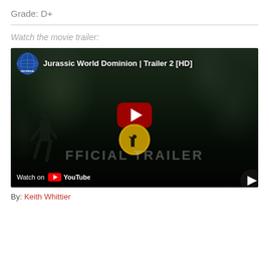Grade: D+
Watch the movie trailer:
[Figure (screenshot): YouTube video embed thumbnail for 'Jurassic World Dominion | Trailer 2 [HD]' showing a dark snowy forest scene with a person walking, YouTube play button in center, Universal logo top-left, Jurassic Park logo below play button, and 'OFFICIAL TRAILER' text overlay. Bottom shows 'Watch on YouTube' bar.]
By: Keith Whittier